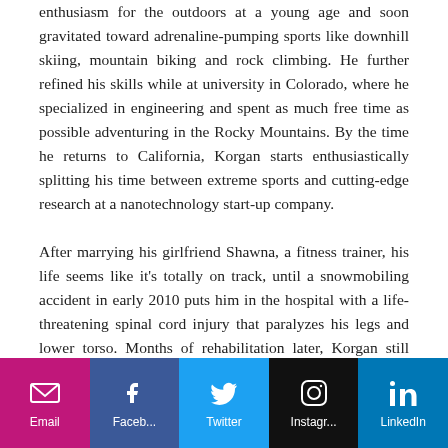enthusiasm for the outdoors at a young age and soon gravitated toward adrenaline-pumping sports like downhill skiing, mountain biking and rock climbing. He further refined his skills while at university in Colorado, where he specialized in engineering and spent as much free time as possible adventuring in the Rocky Mountains. By the time he returns to California, Korgan starts enthusiastically splitting his time between extreme sports and cutting-edge research at a nanotechnology start-up company.
After marrying his girlfriend Shawna, a fitness trainer, his life seems like it's totally on track, until a snowmobiling accident in early 2010 puts him in the hospital with a life-threatening spinal cord injury that paralyzes his legs and lower torso. Months of rehabilitation later, Korgan still struggles to recover his ability to walk, remaining dependent on a wheelchair and Shawna's unfailing support. Korgan seems resigned to giving up his formerly active
[Figure (infographic): Social media share bar with five buttons: Email (magenta), Facebook (blue), Twitter (light blue), Instagram (black), LinkedIn (blue)]